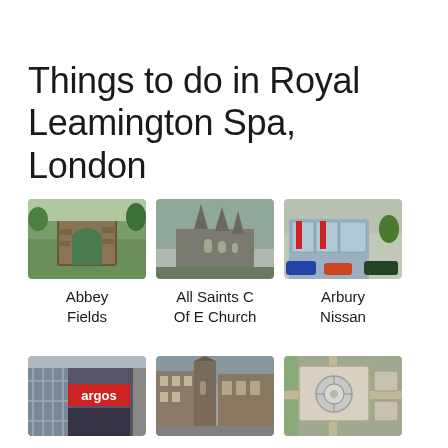Things to do in Royal Leamington Spa, London
[Figure (photo): Abbey Fields - stone archway ruins in green park]
Abbey Fields
[Figure (photo): All Saints C Of E Church - gothic cathedral exterior]
All Saints C Of E Church
[Figure (photo): Arbury Nissan - car dealership exterior with red banners]
Arbury Nissan
[Figure (photo): Argos Leamington in - Argos store exterior with blue signage]
Argos Leamington in
[Figure (photo): Assembly Leamington - historic town buildings street view]
Assembly Leamington
[Figure (photo): British Motor Museum - aerial view of museum building]
British Motor Museum